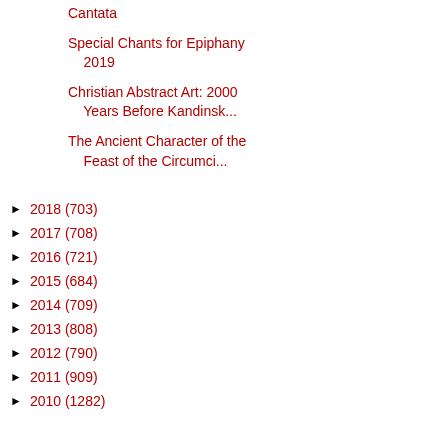Cantata
Special Chants for Epiphany 2019
Christian Abstract Art: 2000 Years Before Kandinsk...
The Ancient Character of the Feast of the Circumci...
► 2018 (703)
► 2017 (708)
► 2016 (721)
► 2015 (684)
► 2014 (709)
► 2013 (808)
► 2012 (790)
► 2011 (909)
► 2010 (1282)